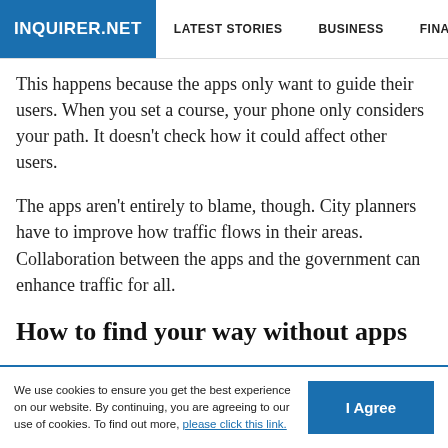INQUIRER.NET | LATEST STORIES | BUSINESS | FINANCE | TECHNOLO
This happens because the apps only want to guide their users. When you set a course, your phone only considers your path. It doesn't check how it could affect other users.
The apps aren't entirely to blame, though. City planners have to improve how traffic flows in their areas. Collaboration between the apps and the government can enhance traffic for all.
How to find your way without apps
We use cookies to ensure you get the best experience on our website. By continuing, you are agreeing to our use of cookies. To find out more, please click this link.